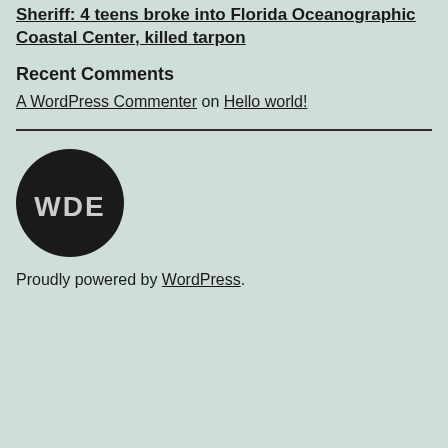Sheriff: 4 teens broke into Florida Oceanographic Coastal Center, killed tarpon
Recent Comments
A WordPress Commenter on Hello world!
[Figure (logo): WDE circular logo — black circle with white letters WDE]
Proudly powered by WordPress.